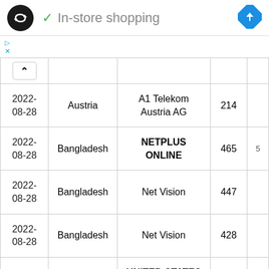[Figure (screenshot): Logo circle with double arrow icon (infinite/loop symbol) in white on black background]
✓ In-store shopping
[Figure (logo): Blue diamond navigation/directions icon]
▷
X
|  |  |  |  |  |
| --- | --- | --- | --- | --- |
| 2022-08-28 | Austria | A1 Telekom Austria AG | 214 |  |
| 2022-08-28 | Bangladesh | NETPLUS ONLINE | 465 | 5 |
| 2022-08-28 | Bangladesh | Net Vision | 447 |  |
| 2022-08-28 | Bangladesh | Net Vision | 428 |  |
| 2022- |  | UNITED STATES CELLULAR TELEPHONE COMPANY OR BETTER | 74.5 |  |